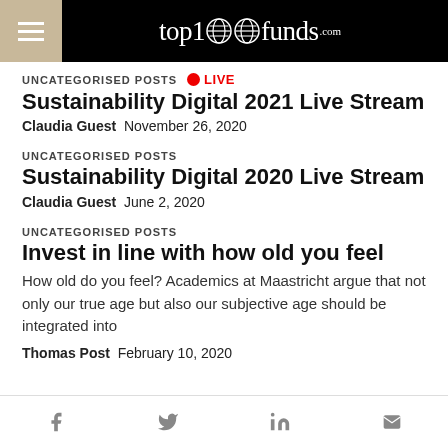top1000funds.com
UNCATEGORISED POSTS   LIVE
Sustainability Digital 2021 Live Stream
Claudia Guest  November 26, 2020
UNCATEGORISED POSTS
Sustainability Digital 2020 Live Stream
Claudia Guest  June 2, 2020
UNCATEGORISED POSTS
Invest in line with how old you feel
How old do you feel? Academics at Maastricht argue that not only our true age but also our subjective age should be integrated into
Thomas Post  February 10, 2020
f  Twitter  in  mail